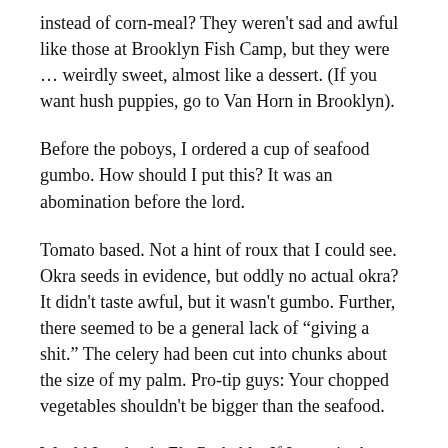instead of corn-meal? They weren't sad and awful like those at Brooklyn Fish Camp, but they were … weirdly sweet, almost like a dessert. (If you want hush puppies, go to Van Horn in Brooklyn).
Before the poboys, I ordered a cup of seafood gumbo. How should I put this? It was an abomination before the lord.
Tomato based. Not a hint of roux that I could see. Okra seeds in evidence, but oddly no actual okra? It didn't taste awful, but it wasn't gumbo. Further, there seemed to be a general lack of “giving a shit.” The celery had been cut into chunks about the size of my palm. Pro-tip guys: Your chopped vegetables shouldn't be bigger than the seafood.
Would I go back. Eh. Probably. If I were in the neighborhood and wanted a poboy.